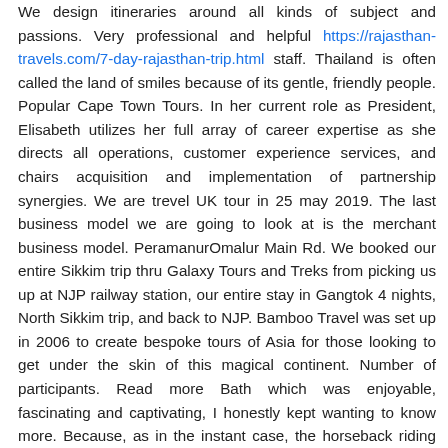We design itineraries around all kinds of subject and passions. Very professional and helpful https://rajasthan-travels.com/7-day-rajasthan-trip.html staff. Thailand is often called the land of smiles because of its gentle, friendly people. Popular Cape Town Tours. In her current role as President, Elisabeth utilizes her full array of career expertise as she directs all operations, customer experience services, and chairs acquisition and implementation of partnership synergies. We are trevel UK tour in 25 may 2019. The last business model we are going to look at is the merchant business model. PeramanurOmalur Main Rd. We booked our entire Sikkim trip thru Galaxy Tours and Treks from picking us up at NJP railway station, our entire stay in Gangtok 4 nights, North Sikkim trip, and back to NJP. Bamboo Travel was set up in 2006 to create bespoke tours of Asia for those looking to get under the skin of this magical continent. Number of participants. Read more Bath which was enjoyable, fascinating and captivating, I honestly kept wanting to know more. Because, as in the instant case, the horseback riding activity was run by local Mexican residents, not by the hotel, and the hotel merely mentioned, in the hotel brochure, its availability to guests, id. Pathetic way of talking and not following road safety. Enter your Email Address here to receive GST updates from our experts. Expedia can also analyze patterns to pinpoint trends that offer a better understanding of what customers are looking for.